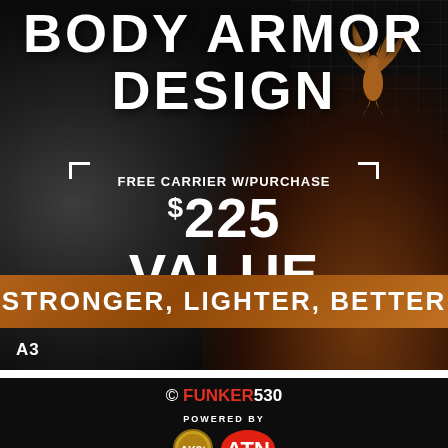[Figure (illustration): Body armor advertisement banner with dark textured background, phoenix logo, offer text 'FREE CARRIER W/PURCHASE $225 VALUE' in bracket frame, orange bar with 'STRONGER, LIGHTER, BETTER' slogan, label A3]
© FUNKER530  POWERED BY  [AK9t logo] [ATN logo]  [Facebook] [Twitter] [YouTube]  About  Contact Us  Privacy Policy  TOS  Store